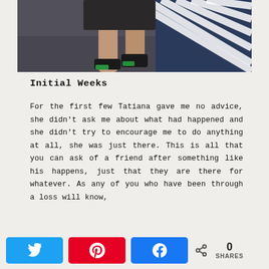[Figure (photo): Photo showing the lower legs and sneakers of a person walking or standing, wearing dark shorts, in front of a striped blue and white railing/fence background. Dark gritty pavement visible.]
Initial Weeks
For the first few Tatiana gave me no advice, she didn't ask me about what had happened and she didn't try to encourage me to do anything at all, she was just there. This is all that you can ask of a friend after something like his happens, just that they are there for whatever. As any of you who have been through a loss will know,
[Figure (infographic): Social share bar with Twitter (blue), Pinterest (red), Facebook (blue) buttons and a share count showing 0 SHARES with a share icon.]